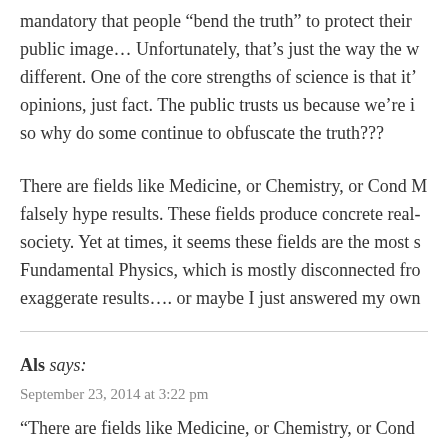mandatory that people “bend the truth” to protect their public image… Unfortunately, that’s just the way the w different. One of the core strengths of science is that it' opinions, just fact. The public trusts us because we’re i so why do some continue to obfuscate the truth???
There are fields like Medicine, or Chemistry, or Cond M falsely hype results. These fields produce concrete real- society. Yet at times, it seems these fields are the most s Fundamental Physics, which is mostly disconnected fro exaggerate results…. or maybe I just answered my own
Als says:
September 23, 2014 at 3:22 pm
“There are fields like Medicine, or Chemistry, or Cond falsely hype results. These fields produce concrete real- society. Yet at times, it seems these fields are the most